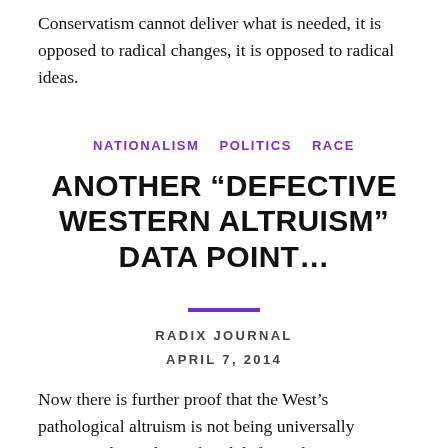Conservatism cannot deliver what is needed, it is opposed to radical changes, it is opposed to radical ideas.
NATIONALISM   POLITICS   RACE
ANOTHER “DEFECTIVE WESTERN ALTRUISM” DATA POINT…
RADIX JOURNAL
APRIL 7, 2014
Now there is further proof that the West’s pathological altruism is not being universally interpreted as a desire for global equalism…or whatever. But as was always suspected… As weakness.